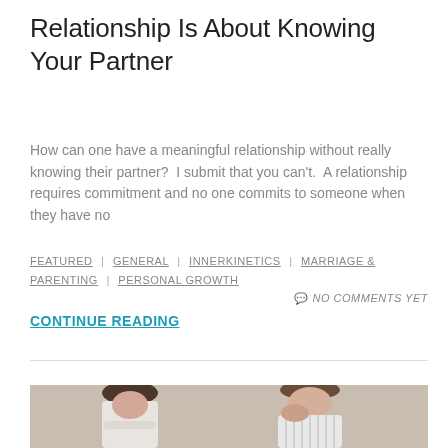Relationship Is About Knowing Your Partner
How can one have a meaningful relationship without really knowing their partner?  I submit that you can't.  A relationship requires commitment and no one commits to someone when they have no
FEATURED | GENERAL | INNERKINETICS | MARRIAGE & PARENTING | PERSONAL GROWTH   NO COMMENTS YET
CONTINUE READING
[Figure (photo): A man and woman sitting back to back in a strained posture, the woman with arms crossed and the man with his hand on his neck, suggesting relationship tension.]